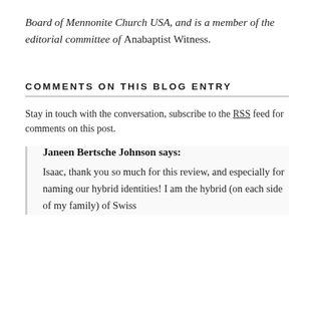Board of Mennonite Church USA, and is a member of the editorial committee of Anabaptist Witness.
COMMENTS ON THIS BLOG ENTRY
Stay in touch with the conversation, subscribe to the RSS feed for comments on this post.
Janeen Bertsche Johnson says:
Isaac, thank you so much for this review, and especially for naming our hybrid identities! I am the hybrid (on each side of my family) of Swiss